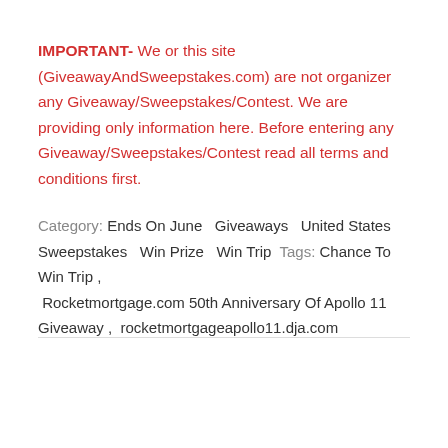IMPORTANT- We or this site (GiveawayAndSweepstakes.com) are not organizer any Giveaway/Sweepstakes/Contest. We are providing only information here. Before entering any Giveaway/Sweepstakes/Contest read all terms and conditions first.
Category: Ends On June  Giveaways  United States  Sweepstakes  Win Prize  Win Trip  Tags:  Chance To Win Trip ,  Rocketmortgage.com 50th Anniversary Of Apollo 11 Giveaway ,  rocketmortgageapollo11.dja.com